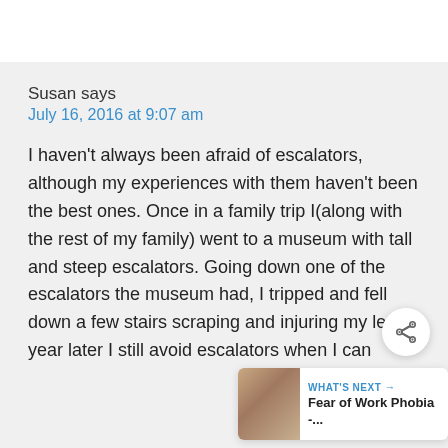Susan says
July 16, 2016 at 9:07 am
I haven't always been afraid of escalators, although my experiences with them haven't been the best ones. Once in a family trip I(along with the rest of my family) went to a museum with tall and steep escalators. Going down one of the escalators the museum had, I tripped and fell down a few stairs scraping and injuring my leg. I year later I still avoid escalators when I can